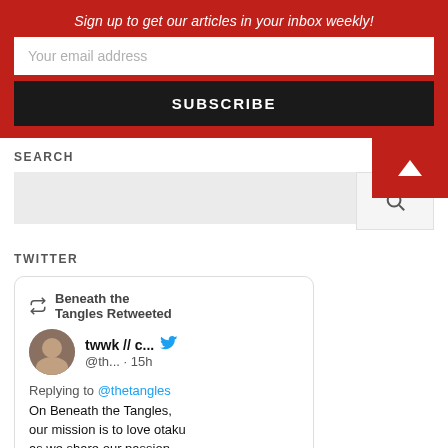Sign up to get our articles in your inbox weekly!
Your email address
SUBSCRIBE
SEARCH
TWITTER
Beneath the Tangles Retweeted
twwk // c...
@th... · 15h
Replying to @thetangles
On Beneath the Tangles, our mission is to love otaku as we share our passion